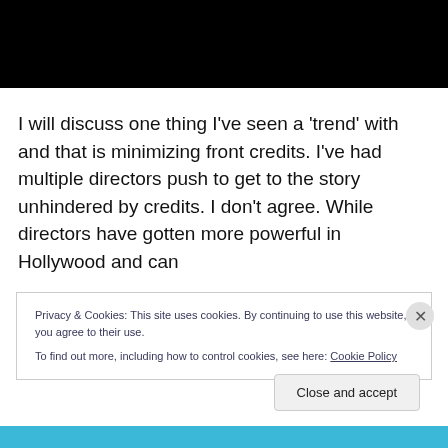[Figure (other): Black video player area at top of page]
I will discuss one thing I've seen a 'trend' with and that is minimizing front credits. I've had multiple directors push to get to the story unhindered by credits. I don't agree. While directors have gotten more powerful in Hollywood and can
Privacy & Cookies: This site uses cookies. By continuing to use this website, you agree to their use.
To find out more, including how to control cookies, see here: Cookie Policy
Close and accept